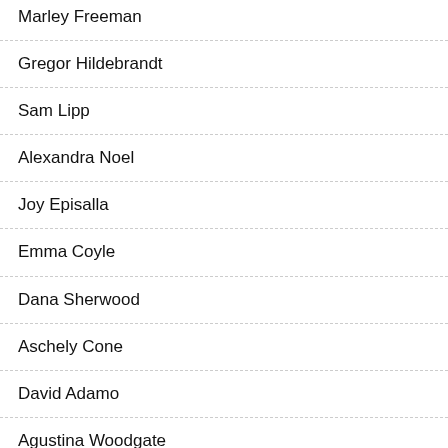Marley Freeman
Gregor Hildebrandt
Sam Lipp
Alexandra Noel
Joy Episalla
Emma Coyle
Dana Sherwood
Aschely Cone
David Adamo
Agustina Woodgate